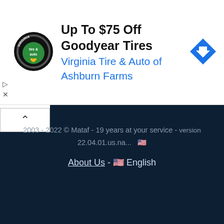[Figure (screenshot): Advertisement banner for Virginia Tire & Auto of Ashburn Farms showing logo, text 'Up To $75 Off Goodyear Tires', and a blue diamond navigation arrow icon]
▷
X
∧
2003 - 2022 © Mataf - 19 years at your service - version 22.04.01.us.na... 🇺🇸
About Us - 🇺🇸 English